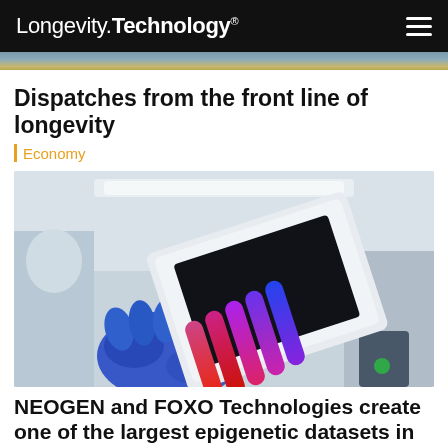Longevity.Technology®
[Figure (photo): Partial image of a laboratory or technology scene, cropped at top of page]
Dispatches from the front line of longevity
Economy
[Figure (photo): A gloved hand in a blue laboratory glove holds a white rectangular device containing colorful fluorescent strips ranging from red/pink at the bottom to blue/purple at the top, in a laboratory setting]
NEOGEN and FOXO Technologies create one of the largest epigenetic datasets in